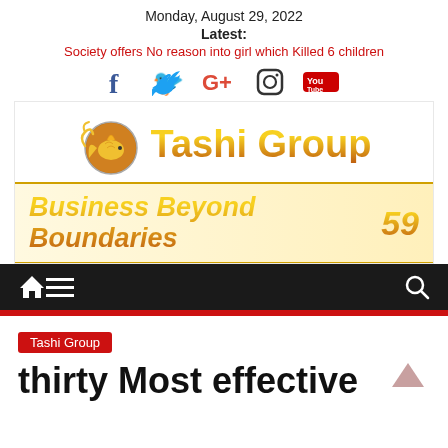Monday, August 29, 2022
Latest:
Society offers No reason into girl which Killed 6 children
[Figure (logo): Social media icons: Facebook, Twitter, Google+, Instagram, YouTube]
[Figure (logo): Tashi Group logo with goldfish emblem and Business Beyond Boundaries 59 tagline]
[Figure (other): Navigation bar with home icon, hamburger menu, and search icon]
Tashi Group
thirty Most effective